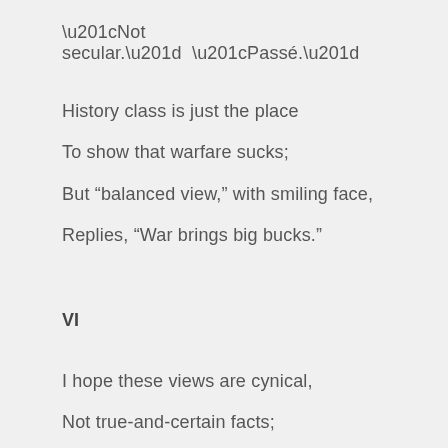“Not secular.”  “Passé.”
History class is just the place
To show that warfare sucks;
But “balanced view,” with smiling face,
Replies, “War brings big bucks.”
VI
I hope these views are cynical,
Not true-and-certain facts;